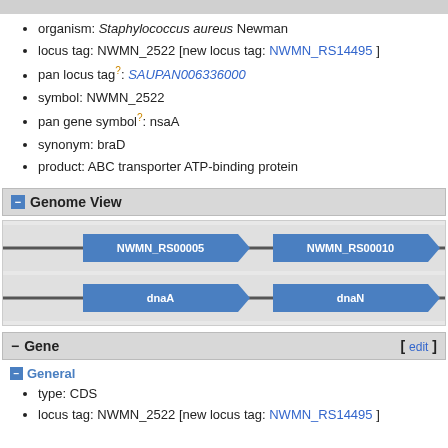organism: Staphylococcus aureus Newman
locus tag: NWMN_2522 [new locus tag: NWMN_RS14495 ]
pan locus tag?: SAUPAN006336000
symbol: NWMN_2522
pan gene symbol?: nsaA
synonym: braD
product: ABC transporter ATP-binding protein
Genome View
[Figure (other): Genome view showing two gene tracks. Top track shows gene arrows labeled NWMN_RS00005 and NWMN_RS00010. Bottom track shows gene arrows labeled dnaA and dnaN. All arrows are blue pointing right on a gray track line.]
Gene
General
type: CDS
locus tag: NWMN_2522 [new locus tag: NWMN_RS14495 ]